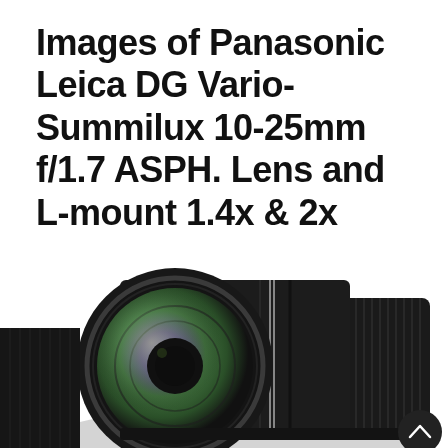Images of Panasonic Leica DG Vario-Summilux 10-25mm f/1.7 ASPH. Lens and L-mount 1.4x & 2x Tele Converters
[Figure (photo): Front view of a Panasonic Leica DG Vario-Summilux 10-25mm f/1.7 ASPH lens, black barrel with ribbed zoom/focus rings, front element showing purple-green coating reflection, LEICA branding visible on the barrel]